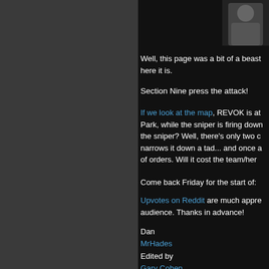[Figure (photo): Partial photo of a person visible in top right corner]
Well, this page was a bit of a beast here it is.
Section Nine press the attack!
If we look at the map, REVOK is at Park, while the sniper is firing down the sniper? Well, there's only two c narrows it down a tad... and once a of orders. Will it cost the team/her
Come back Friday for the start of:
Upvotes on Reddit are much appre audience. Thanks in advance!
Dan
MrHades
Edited by
Gary Cohen
Share this:
[Figure (screenshot): Tweet button with Twitter bird icon]